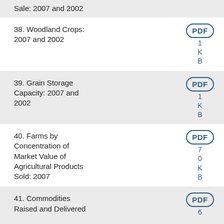Sale: 2007 and 2002
38. Woodland Crops: 2007 and 2002
39. Grain Storage Capacity: 2007 and 2002
40. Farms by Concentration of Market Value of Agricultural Products Sold: 2007
41. Commodities Raised and Delivered